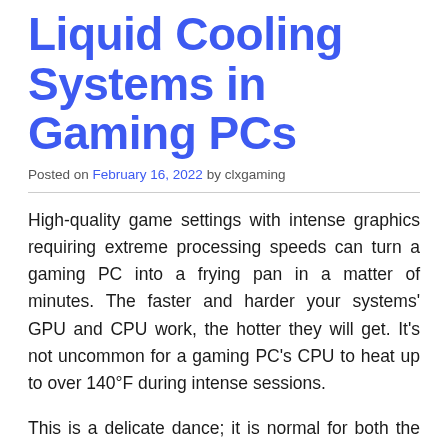Liquid Cooling Systems in Gaming PCs
Posted on February 16, 2022 by clxgaming
High-quality game settings with intense graphics requiring extreme processing speeds can turn a gaming PC into a frying pan in a matter of minutes. The faster and harder your systems' GPU and CPU work, the hotter they will get. It's not uncommon for a gaming PC's CPU to heat up to over 140°F during intense sessions.
This is a delicate dance; it is normal for both the CPU and GPU to get got quickly, but temperatures